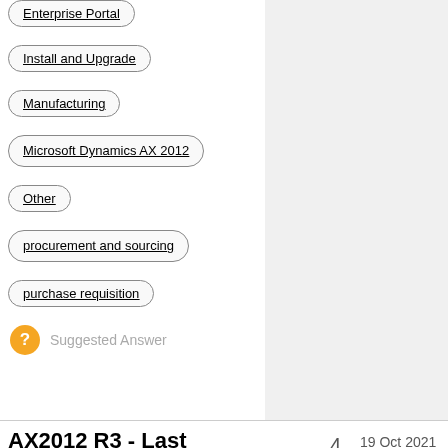Enterprise Portal
Install and Upgrade
Manufacturing
Microsoft Dynamics AX 2012
Other
procurement and sourcing
purchase requisition
Suggested Answer
AX2012 R3 - Last
4
19 Oct 2021